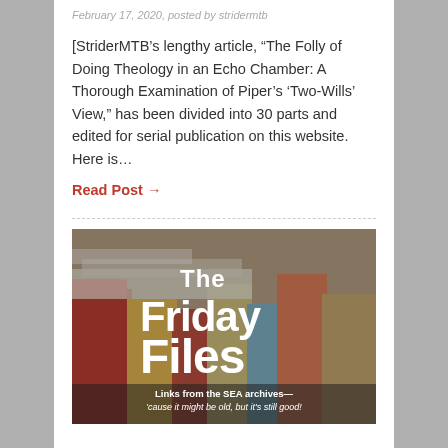February 17, 2020, posted by stridermtb
[StriderMTB’s lengthy article, “The Folly of Doing Theology in an Echo Chamber: A Thorough Examination of Piper’s ‘Two-Wills’ View,” has been divided into 30 parts and edited for serial publication on this website. Here is…
Read Post →
[Figure (photo): The Friday Files — Links from the SEA archives—'cause it might be old, but it's still good! — promotional image with stacked colourful books in background and bold white text overlay.]